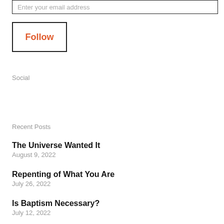Enter your email address
Follow
Social
Recent Posts
The Universe Wanted It
August 9, 2022
Repenting of What You Are
July 26, 2022
Is Baptism Necessary?
July 12, 2022